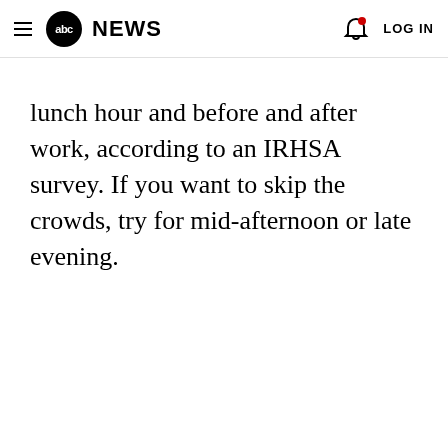abc NEWS   LOG IN
lunch hour and before and after work, according to an IRHSA survey. If you want to skip the crowds, try for mid-afternoon or late evening.